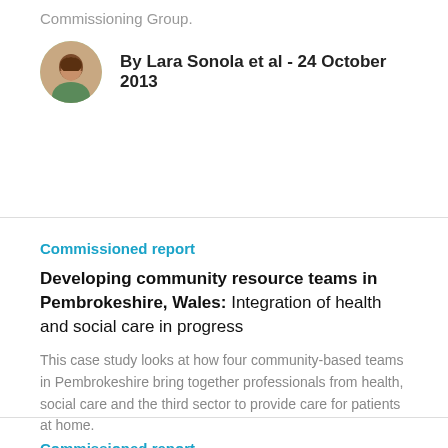Commissioning Group.
By Lara Sonola et al - 24 October 2013
Commissioned report
Developing community resource teams in Pembrokeshire, Wales: Integration of health and social care in progress
This case study looks at how four community-based teams in Pembrokeshire bring together professionals from health, social care and the third sector to provide care for patients at home.
By Veronika Thiel et al - 24 October 2013
Commissioned report